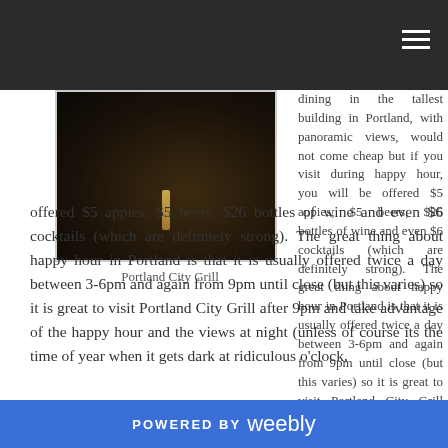[Figure (photo): Dark atmospheric photo of Portland City Grill interior with a candle or lamp stand visible]
Portland City Grill
dining in the tallest building in Portland, with panoramic views, would not come cheap but if you visit during happy hour, you will be offered $5 appies, $5 beers, $26 bottles of wine and even $6 cocktails (which are definitely strong). The great thing about happy hour in Portland is that it is usually offered twice a day between 3-6pm and again from 9pm until close (but this varies) so it is great to visit Portland City Grill after 9pm and take advantage of the happy hour and the views at night (unless of course its the time of year when it gets dark at ridiculous o'clock,
POWERED BY weebly